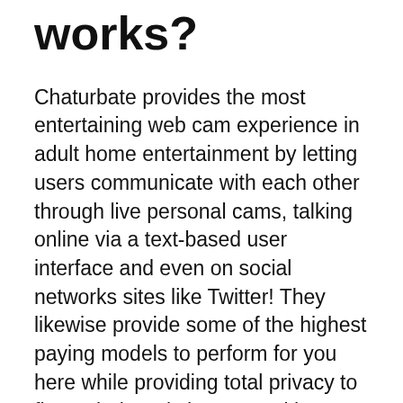works?
Chaturbate provides the most entertaining web cam experience in adult home entertainment by letting users communicate with each other through live personal cams, talking online via a text-based user interface and even on social networks sites like Twitter! They likewise provide some of the highest paying models to perform for you here while providing total privacy to flaunt their real character without being evaluated based exclusively upon look alone.
In addition to these features, they have great webcam girls who are willing not only chat but do more intimate things also, including